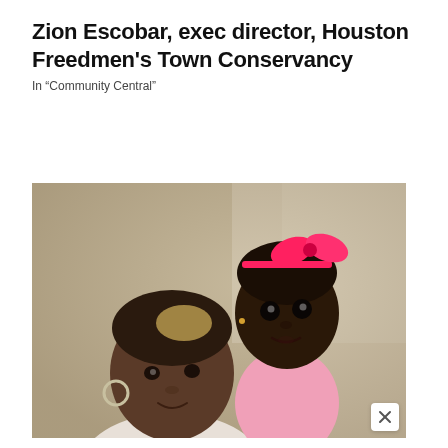Zion Escobar, exec director, Houston Freedmen's Town Conservancy
In “Community Central”
[Figure (photo): A woman with short blonde-tipped hair holding a young toddler girl wearing a pink bow headband and pink shirt. Both are looking toward the camera. The background is a blurred beige/gray interior.]